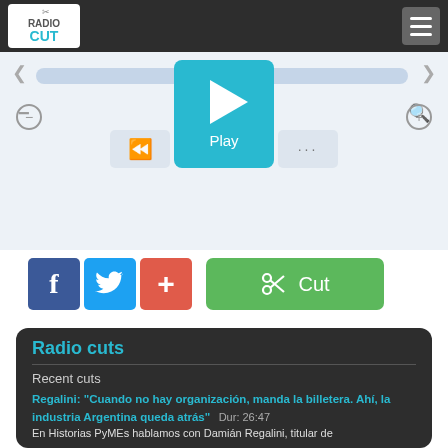[Figure (screenshot): RadioCut logo in white box on dark navigation bar, with hamburger menu icon on right]
[Figure (screenshot): Audio player interface with waveform bar, play button, rewind button, dots menu, and zoom controls]
[Figure (screenshot): Social share buttons: Facebook, Twitter, Plus, and green Cut button with scissors icon]
Radio cuts
Recent cuts
Regalini: "Cuando no hay organización, manda la billetera. Ahí, la industria Argentina queda atrás"  Dur: 26:47
En Historias PyMEs hablamos con Damián Regalini, titular de